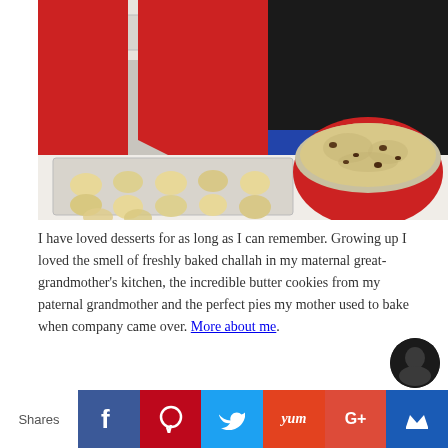[Figure (photo): A person in a red sweater and black top standing behind a kitchen counter with a baking sheet of cookie dough balls and a large red bowl filled with cookie dough.]
I have loved desserts for as long as I can remember. Growing up I loved the smell of freshly baked challah in my maternal great-grandmother's kitchen, the incredible butter cookies from my paternal grandmother and the perfect pies my mother used to bake when company came over. More about me.
Shares | Facebook | Pinterest | Twitter | Yum | Google+ | Crown